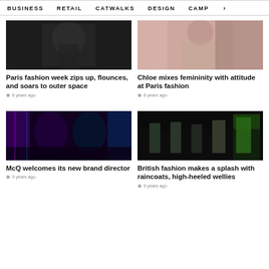BUSINESS   RETAIL   CATWALKS   DESIGN   CAMP >
[Figure (photo): Fashion model in dark outfit on runway]
Paris fashion week zips up, flounces, and soars to outer space
8 years ago
[Figure (photo): Model in pink/blush coat at Paris fashion show]
Chloe mixes femininity with attitude at Paris fashion
8 years ago
[Figure (photo): Models with neon lighting, dark edgy fashion]
McQ welcomes its new brand director
9 years ago
[Figure (photo): Models on stage in dark fashion show with green outfit]
British fashion makes a splash with raincoats, high-heeled wellies
9 years ago